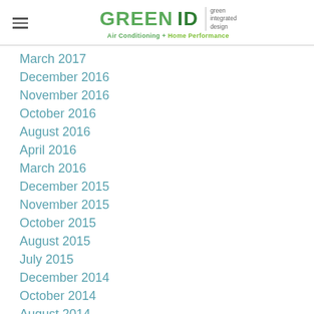GREENID green integrated design Air Conditioning + Home Performance
March 2017
December 2016
November 2016
October 2016
August 2016
April 2016
March 2016
December 2015
November 2015
October 2015
August 2015
July 2015
December 2014
October 2014
August 2014
July 2014
June 2014